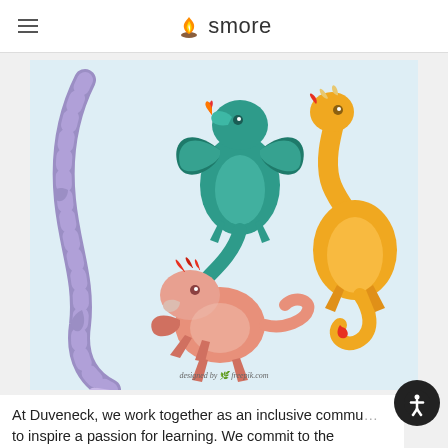smore
[Figure (illustration): Four cartoon dragons in different colors and poses on a light blue background: a purple serpentine dragon on the left, a teal/green dragon with wings spread in the top center, an orange/golden dragon with horns on the right, and a pink/salmon dragon in the bottom center. Text at bottom reads 'designed by freepik.com']
At Duveneck, we work together as an inclusive commu... to inspire a passion for learning. We commit to the